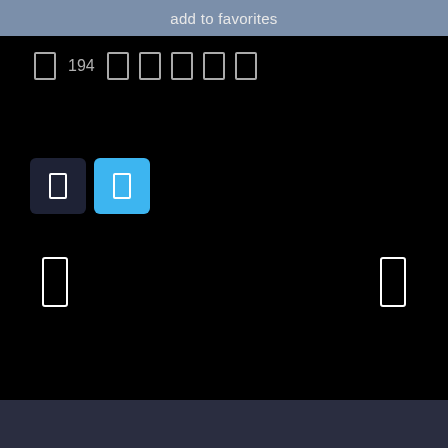add to favorites
□ 194 □ □ □ □ □
[Figure (screenshot): Two square buttons: dark button with white rectangle icon on left, blue button with white rectangle icon on right]
[Figure (screenshot): Navigation arrows: left arrow bracket on left side, right arrow bracket on right side]
[Figure (screenshot): Dark bottom navigation bar]